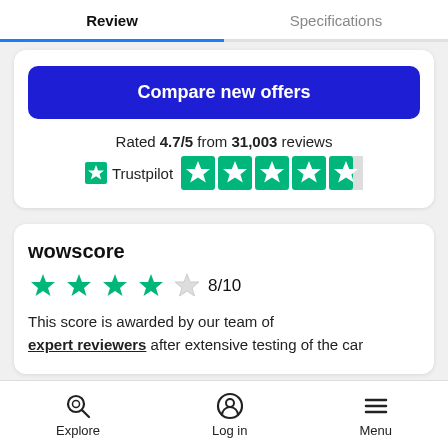Review | Specifications
Compare new offers
Rated 4.7/5 from 31,003 reviews
[Figure (infographic): Trustpilot logo with green star and 4.7 out of 5 star rating shown as 5 green Trustpilot stars (4 full, 1 partial)]
wowscore
[Figure (infographic): 4 out of 5 green stars with score 8/10]
This score is awarded by our team of expert reviewers after extensive testing of the car
Explore | Log in | Menu